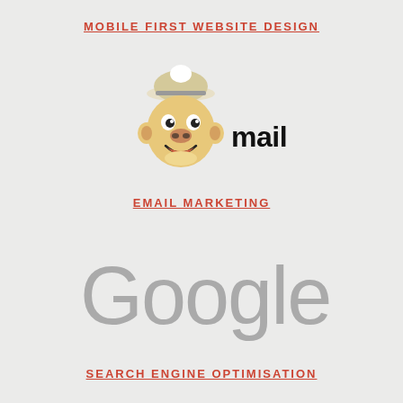MOBILE FIRST WEBSITE DESIGN
[Figure (logo): Mailchimp logo — monkey mascot head with cap on the left, bold black 'mailchimp' wordmark on the right]
EMAIL MARKETING
[Figure (logo): Google logo in light gray color, large serif-style lettering]
SEARCH ENGINE OPTIMISATION